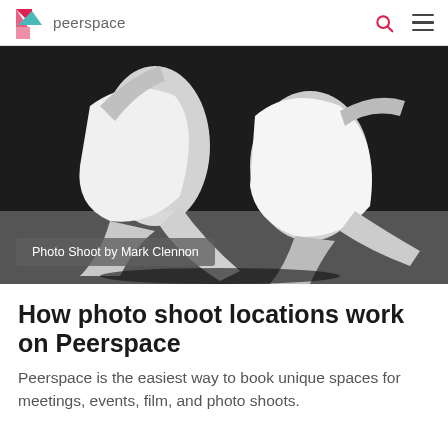peerspace
[Figure (photo): Black and white photo of two dancers in white clothing performing capoeira or martial arts dance moves, with a caption overlay reading 'Photo Shoot by Mark Clennon']
How photo shoot locations work on Peerspace
Peerspace is the easiest way to book unique spaces for meetings, events, film, and photo shoots.